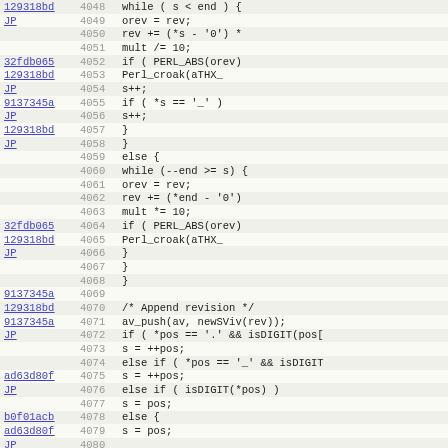| commit | line | code |
| --- | --- | --- |
| 129318bd | 4048 | while ( s < end ) { |
| JP | 4049 |     orev = rev; |
|  | 4050 |     rev += (*s - '0') * |
|  | 4051 |     mult /= 10; |
| 32fdb065 | 4052 |     if ( PERL_ABS(orev) |
| 129318bd | 4053 |         Perl_croak(aTHX_ |
| JP | 4054 |     s++; |
| 9137345a | 4055 |     if ( *s == '_' ) |
| JP | 4056 |         s++; |
| 129318bd | 4057 |     } |
| JP | 4058 | } |
|  | 4059 | else { |
|  | 4060 |     while (--end >= s) { |
|  | 4061 |         orev = rev; |
|  | 4062 |         rev += (*end - '0') |
|  | 4063 |         mult *= 10; |
| 32fdb065 | 4064 |     if ( PERL_ABS(orev) |
| 129318bd | 4065 |         Perl_croak(aTHX_ |
| JP | 4066 |     } |
|  | 4067 | } |
|  | 4068 | } |
| 9137345a | 4069 |  |
| 129318bd | 4070 | /* Append revision */ |
| 9137345a | 4071 | av_push(av, newSViv(rev)); |
| JP | 4072 | if ( *pos == '.' && isDIGIT(pos[ |
|  | 4073 |     s = ++pos; |
|  | 4074 | else if ( *pos == '_' && isDIGIT |
| ad63d80f | 4075 |     s = ++pos; |
| JP | 4076 | else if ( isDIGIT(*pos) ) |
|  | 4077 |     s = pos; |
| b0f01acb | 4078 | else { |
| ad63d80f | 4079 |     s = pos; |
| JP | 4080 |  |